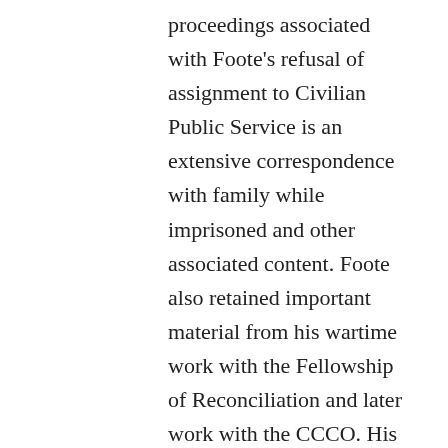proceedings associated with Foote's refusal of assignment to Civilian Public Service is an extensive correspondence with family while imprisoned and other associated content. Foote also retained important material from his wartime work with the Fellowship of Reconciliation and later work with the CCCO. His later correspondence provides an important perspective on his developing legal career, particularly the earlier years, and an extensive series of essays and autobiographical writings provides critical personal and intellectual context for Foote's pacifism and legal practice. The collection also includes some